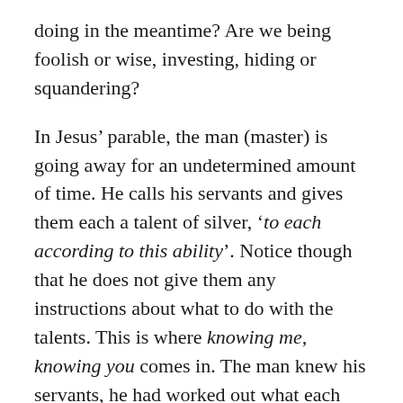doing in the meantime? Are we being foolish or wise, investing, hiding or squandering?
In Jesus' parable, the man (master) is going away for an undetermined amount of time. He calls his servants and gives them each a talent of silver, 'to each according to this ability'. Notice though that he does not give them any instructions about what to do with the talents. This is where knowing me, knowing you comes in. The man knew his servants, he had worked out what each would do with the talents given.
Through the actions of the first two servants, those who invested the talents, we can see that they knew their master. Even without explicit